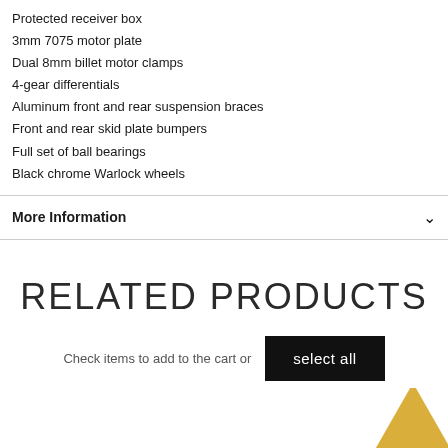Protected receiver box
3mm 7075 motor plate
Dual 8mm billet motor clamps
4-gear differentials
Aluminum front and rear suspension braces
Front and rear skid plate bumpers
Full set of ball bearings
Black chrome Warlock wheels
More Information
RELATED PRODUCTS
Check items to add to the cart or
select all